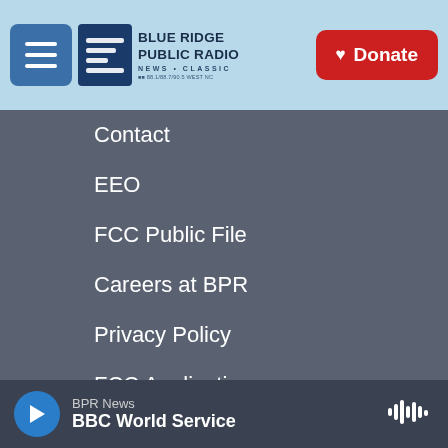Blue Ridge Public Radio — Navigation menu with Donate button
Contact
EEO
FCC Public File
Careers at BPR
Privacy Policy
FCC Applications
[Figure (logo): Partner logos: NPR, PRX, BBC]
BPR News · BBC World Service (audio player bar)